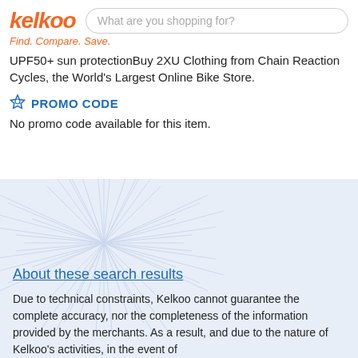kelkoo — What are you shopping for?
Find. Compare. Save.
UPF50+ sun protectionBuy 2XU Clothing from Chain Reaction Cycles, the World's Largest Online Bike Store.
PROMO CODE
No promo code available for this item.
[Figure (illustration): Decorative snowflake/geometric pattern background in light blue on the lower section of the page]
About these search results
Due to technical constraints, Kelkoo cannot guarantee the complete accuracy, nor the completeness of the information provided by the merchants. As a result, and due to the nature of Kelkoo's activities, in the event of